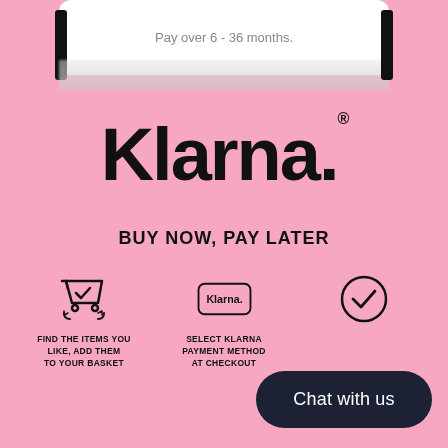Pay over 6 - 36 months.
[Figure (logo): Klarna logo with pink background showing the Klarna wordmark in large bold black text with registered trademark symbol]
BUY NOW, PAY LATER
[Figure (infographic): Three-step infographic showing: 1) shopping basket icon with label FIND THE ITEMS YOU LIKE, ADD THEM TO YOUR BASKET; 2) Klarna payment badge with label SELECT KLARNA PAYMENT METHOD AT CHECKOUT; 3) checkmark circle icon (third step label obscured by Chat button)]
Chat with us